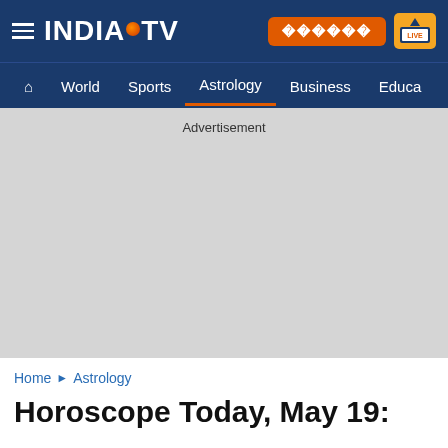[Figure (screenshot): India TV website header with logo, hamburger menu, Hindi button, and Live TV button on dark blue background]
INDIA TV — Navigation: Home, World, Sports, Astrology (active), Business, Educa...
Advertisement
Home ▶ Astrology
Horoscope Today, May 19: